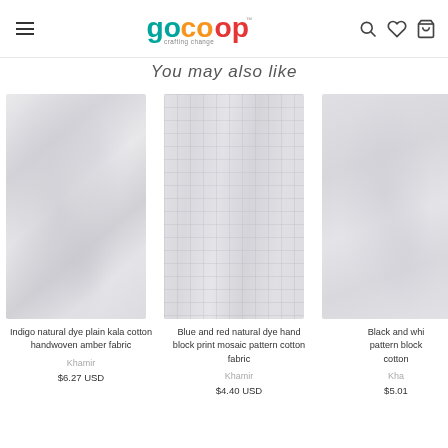GoCoop — crafting change
You may also like
[Figure (photo): Indigo natural dye plain kala cotton handwoven amber fabric product image]
Indigo natural dye plain kala cotton handwoven amber fabric
Khamir
$6.27 USD
[Figure (photo): Blue and red natural dye hand block print mosaic pattern cotton fabric product image]
Blue and red natural dye hand block print mosaic pattern cotton fabric
Khamir
$4.40 USD
[Figure (photo): Black and white pattern block cotton fabric product image (partially visible)]
Black and whi... pattern block cotton
Kha...
$5.01